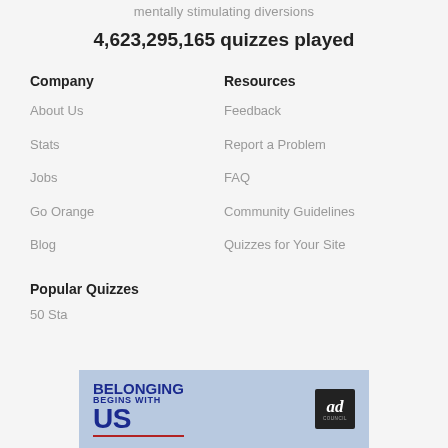mentally stimulating diversions
4,623,295,165 quizzes played
Company
About Us
Stats
Jobs
Go Orange
Blog
Resources
Feedback
Report a Problem
FAQ
Community Guidelines
Quizzes for Your Site
Popular Quizzes
50 Sta
[Figure (infographic): Ad banner: Belonging Begins With US, with Ad Council logo]